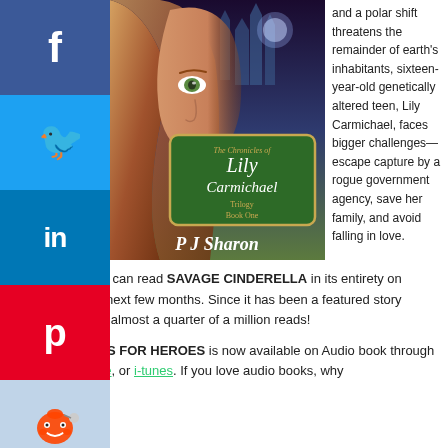[Figure (illustration): Book cover of 'The Chronicles of Lily Carmichael Trilogy Book One' by PJ Sharon, showing a girl's face and fantasy castle background. Social media buttons (Facebook, Twitter, LinkedIn, Pinterest, Reddit) visible on left sidebar.]
and a polar shift threatens the remainder of earth's inhabitants, sixteen-year-old genetically altered teen, Lily Carmichael, faces bigger challenges—escape capture by a rogue government agency, save her family, and avoid falling in love.
Don't forget, you can read SAVAGE CINDERELLA in its entirety on Wattpad for the next few months. Since it has been a featured story there, it has had almost a quarter of a million reads!
Also, HEAVEN IS FOR HEROES is now available on Audio book through Amazon, Audible, or i-tunes. If you love audio books, why